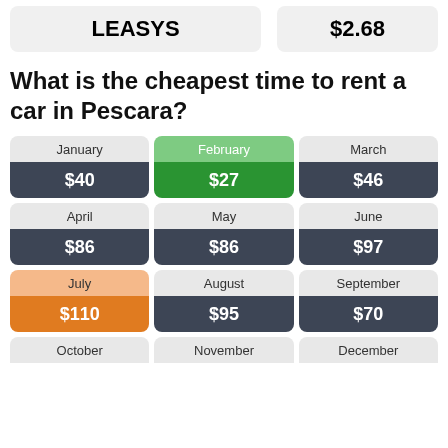| LEASYS | $2.68 |
| --- | --- |
What is the cheapest time to rent a car in Pescara?
| Month | Price |
| --- | --- |
| January | $40 |
| February | $27 |
| March | $46 |
| April | $86 |
| May | $86 |
| June | $97 |
| July | $110 |
| August | $95 |
| September | $70 |
| October |  |
| November |  |
| December |  |